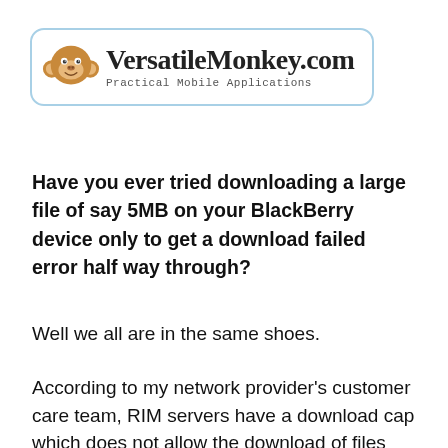[Figure (logo): VersatileMonkey.com logo with monkey icon and subtitle 'Practical Mobile Applications', inside a rounded light-blue border box]
Have you ever tried downloading a large file of say 5MB on your BlackBerry device only to get a download failed error half way through?
Well we all are in the same shoes.
According to my network provider's customer care team, RIM servers have a download cap which does not allow the download of files larger than 4.8MB. Funny